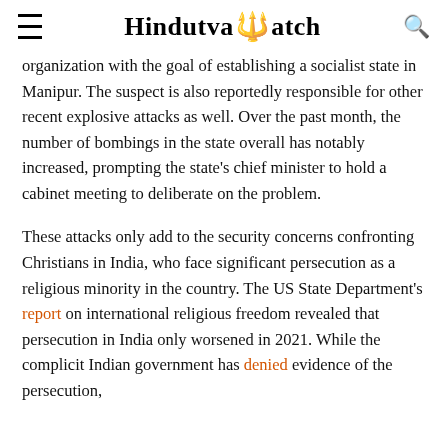Hindutva Watch
organization with the goal of establishing a socialist state in Manipur. The suspect is also reportedly responsible for other recent explosive attacks as well. Over the past month, the number of bombings in the state overall has notably increased, prompting the state's chief minister to hold a cabinet meeting to deliberate on the problem.
These attacks only add to the security concerns confronting Christians in India, who face significant persecution as a religious minority in the country. The US State Department's report on international religious freedom revealed that persecution in India only worsened in 2021. While the complicit Indian government has denied evidence of the persecution,